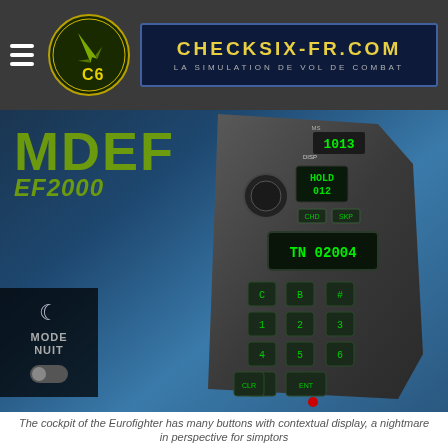CHECKSIX-FR.COM — LA SIMULATION DE VOL DE COMBAT
[Figure (photo): MDEF EF2000 cockpit control panel (Data Entry Panel) for the Eurofighter Typhoon simulator, showing a handheld device with green LED displays reading HOLD 012 and TN 02004, numeric keypad with keys C, B, #, 1-7, CLR, ENT, rotary knobs, and CHD/SKP buttons, on a blue-grey gradient background]
The cockpit of the Eurofighter has many buttons with contextual display, a nightmare in perspective for simiters